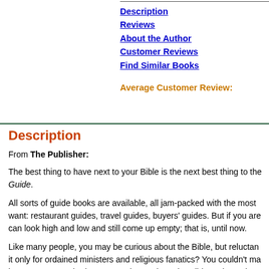Description
Reviews
About the Author
Customer Reviews
Find Similar Books
Average Customer Review:
Description
From The Publisher:
The best thing to have next to your Bible is the next best thing to the Guide.
All sorts of guide books are available, all jam-packed with the most want: restaurant guides, travel guides, buyers' guides. But if you are can look high and low and still come up empty; that is, until now.
Like many people, you may be curious about the Bible, but reluctant it only for ordained ministers and religious fanatics? You couldn't ma it now? But everybody seems to know about the Bible and people tu understand God; perhaps it is time to read it for yourself.